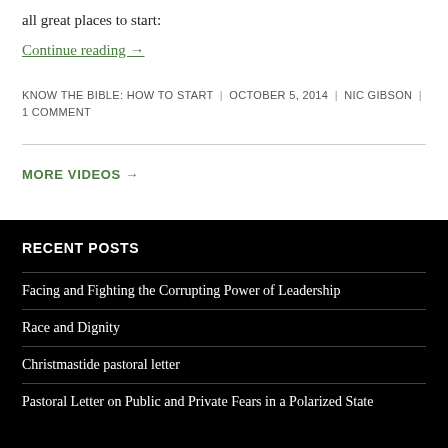all great places to start:
Continue reading →
KNOW THE BIBLE: HOW TO START | OCTOBER 5, 2014 | NIC GIBSON | 1 COMMENT
MORE VIDEOS →
RECENT POSTS
Facing and Fighting the Corrupting Power of Leadership
Race and Dignity
Christmastide pastoral letter
Pastoral Letter on Public and Private Fears in a Polarized State